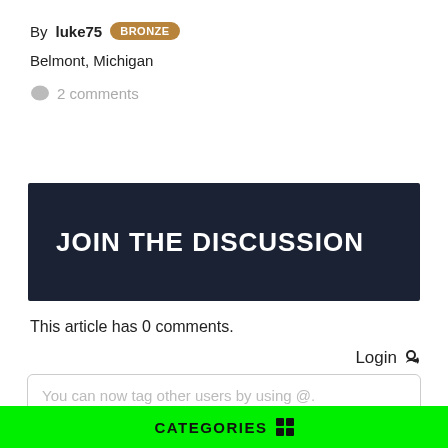By luke75 BRONZE
Belmont, Michigan
2 comments
JOIN THE DISCUSSION
This article has 0 comments.
Login 🔑
You can now tag other users by using @.
CATEGORIES